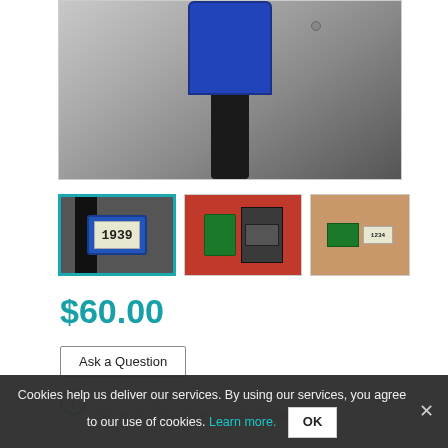[Figure (photo): Close-up photo of a wearable electronic device with a blue housing and black strap]
[Figure (photo): Thumbnail 1: Wearable watch device displaying '1939' on screen, with blue casing and black strap]
[Figure (photo): Thumbnail 2: Electronic components (PCBs) with red strap]
[Figure (photo): Thumbnail 3: Electronic module displaying '1234' on brown table surface]
$60.00
Ask a Question
No shipping info available.
Set destination country to see options
Cookies help us deliver our services. By using our services, you agree to our use of cookies. Learn more.